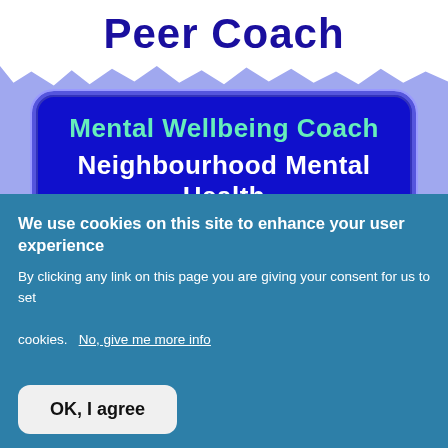Peer Coach
[Figure (illustration): A badge/sign on a light purple background with torn white paper effect at top. The badge is dark blue with rounded corners and contains two lines of text: 'Mental Wellbeing Coach' in cyan/teal and 'Neighbourhood Mental Health' in white bold.]
We use cookies on this site to enhance your user experience
By clicking any link on this page you are giving your consent for us to set cookies.
No, give me more info
OK, I agree